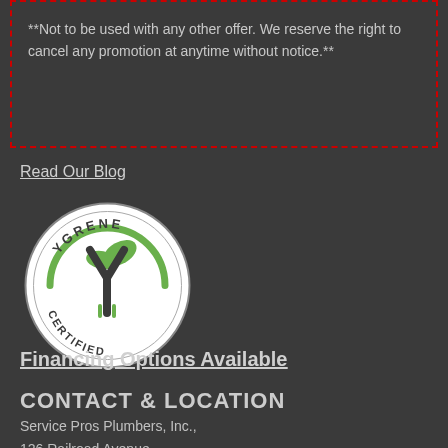**Not to be used with any other offer. We reserve the right to cancel any promotion at anytime without notice.**
Read Our Blog
[Figure (logo): Ygrene Certified logo — circular badge with green leaf and stylized Y, text reads YGRENE at top and CERTIFIED at bottom]
Financing Options Available
CONTACT & LOCATION
Service Pros Plumbers, Inc.,
126 Railroad Avenue
Antioch, CA 94509